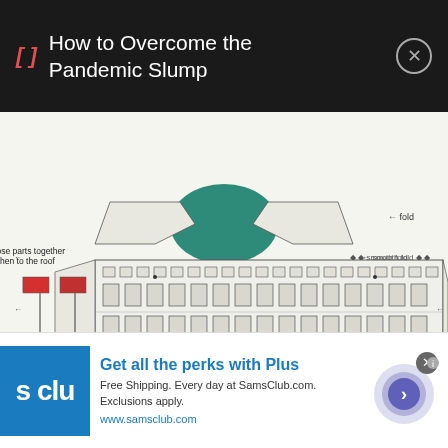[ ]  How to Overcome the Pandemic Slump
[Figure (schematic): White House paper craft cut-out diagram with fold lines, flag decorations, glue instructions. Text labels: 'glue those parts together and then to the roof', 'smooth fold', 'fold', arrows indicating fold directions. Features front facade of the White House building, two flag poles with flags, and a portico section below.]
Get all the perks with Plus
Free Shipping. Every day at SamsClub.com. Exclusions apply.
www.samsclub.com